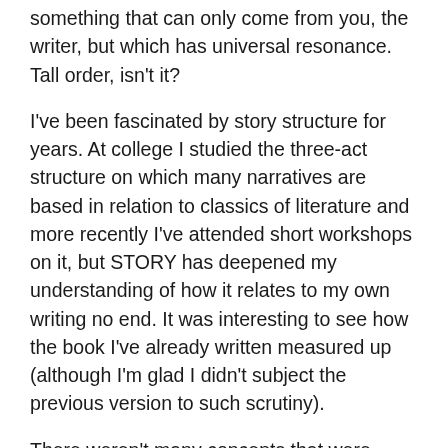something that can only come from you, the writer, but which has universal resonance. Tall order, isn't it?
I've been fascinated by story structure for years. At college I studied the three-act structure on which many narratives are based in relation to classics of literature and more recently I've attended short workshops on it, but STORY has deepened my understanding of how it relates to my own writing no end. It was interesting to see how the book I've already written measured up (although I'm glad I didn't subject the previous version to such scrutiny).
There weren't many concepts that were completely new – anyone with experience of screen- or novel writing should be familiar with the tenets of how to handle exposition (sparingly, invisibly) and dialogue (dramatically, not realistically) for example – but the book goes into a lot of